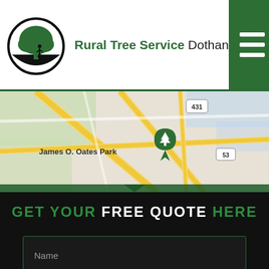Rural Tree Service Dothan
[Figure (map): Google Maps view showing Dothan area with James O. Oates Park marked, highways 431 and 53 visible, green location pin on map]
GET YOUR FREE QUOTE HERE
Name
Email
Phone